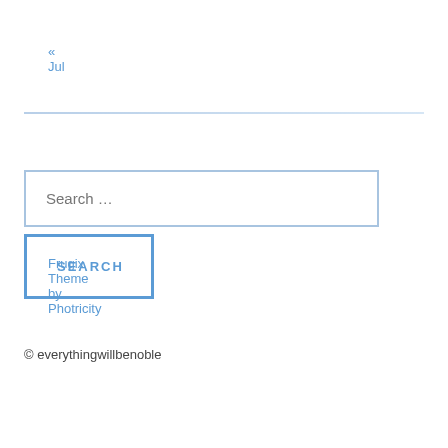« Jul
[Figure (other): Horizontal blue gradient divider line]
Search …
SEARCH
© everythingwillbenoble
Frugix Theme by Photricity